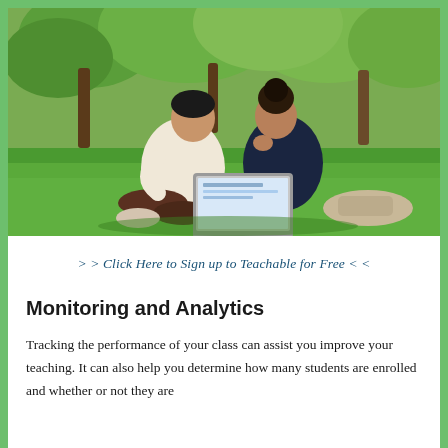[Figure (photo): Two young students sitting on green grass in a park, looking at a laptop computer together. Trees with green foliage are visible in the background.]
> > Click Here to Sign up to Teachable for Free < <
Monitoring and Analytics
Tracking the performance of your class can assist you improve your teaching. It can also help you determine how many students are enrolled and whether or not they are